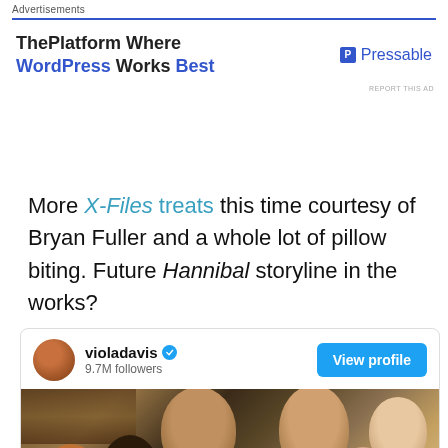Advertisements
[Figure (screenshot): Advertisement banner: ThePlatform Where WordPress Works Best | P Pressable]
REPORT THIS AD
More X-Files treats this time courtesy of Bryan Fuller and a whole lot of pillow biting. Future Hannibal storyline in the works?
[Figure (screenshot): Instagram/Twitter embed card for violadavis with 9.7M followers showing a group selfie photo with View profile button]